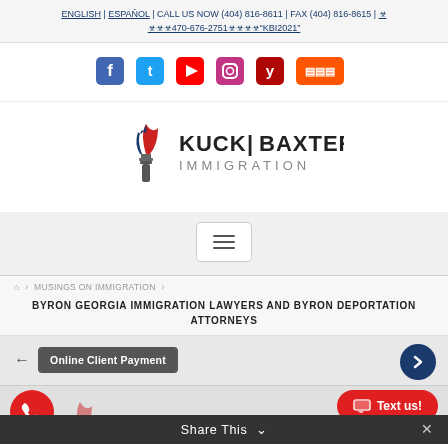ENGLISH | ESPAÑOL | CALL US NOW (404) 816-8611 | FAX (404) 816-8615 | 470-676-2751 KBI2021
[Figure (infographic): Social media icons row: Facebook, Twitter, YouTube, Instagram, Yelp, SoundCloud]
[Figure (logo): Kuck Baxter Immigration logo with torch flame icon]
[Figure (infographic): Hamburger menu button (three horizontal lines)]
⌂ > MUSINGS ON IMMIGRATION >
BYRON GEORGIA IMMIGRATION LAWYERS AND BYRON DEPORTATION ATTORNEYS
Online Client Payment →
📞 Text us! Share This ✕